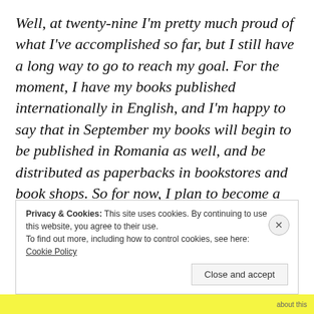Well, at twenty-nine I'm pretty much proud of what I've accomplished so far, but I still have a long way to go to reach my goal. For the moment, I have my books published internationally in English, and I'm happy to say that in September my books will begin to be published in Romania as well, and be distributed as paperbacks in bookstores and book shops. So for now, I plan to become a local celebrity (LOL), and then an international one. After that, the sky is the limit. My biggest dream at the moment is to see my books turned into movies. Watch my blog
Privacy & Cookies: This site uses cookies. By continuing to use this website, you agree to their use.
To find out more, including how to control cookies, see here: Cookie Policy
Close and accept